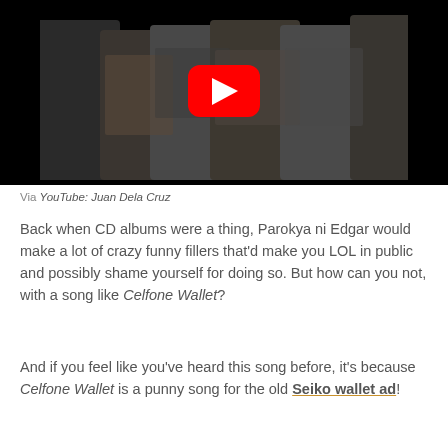[Figure (screenshot): YouTube video thumbnail showing a group of people standing outdoors with a YouTube play button overlay in the center]
Via YouTube: Juan Dela Cruz
Back when CD albums were a thing, Parokya ni Edgar would make a lot of crazy funny fillers that'd make you LOL in public and possibly shame yourself for doing so. But how can you not, with a song like Celfone Wallet?
And if you feel like you've heard this song before, it's because Celfone Wallet is a punny song for the old Seiko wallet ad!